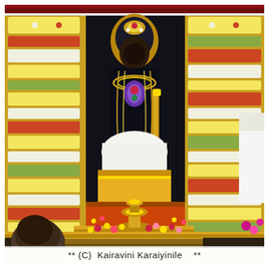[Figure (photo): Close-up photograph of a Hindu deity idol (likely Lord Venkateswara/Balaji) adorned with elaborate jewelry, garlands of flowers (yellow, white, red, pink), and rich silk fabric. The central dark-skinned idol is decorated with diamond and jeweled ornaments. Tall flower garland pillars flank the deity. A brass lamp (deepam) sits at the base surrounded by flower offerings. A devotee's head is partially visible at lower left. The scene appears to be at a temple during a special festival or puja ceremony.]
** (C)  Kairavini Karaiyinile    **